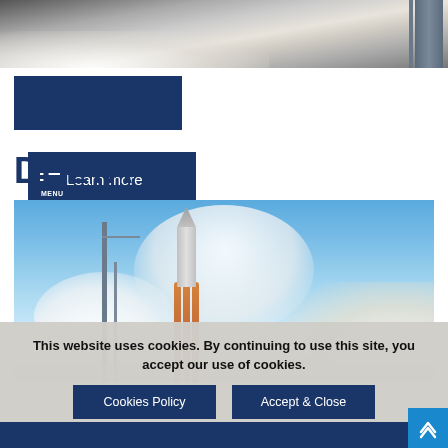[Figure (photo): Rocket launch photo at top of page, showing smoke and launch structure]
[Figure (screenshot): Navigation button with hamburger menu icon and 'Learn more' text on dark blue background, labeled MENU]
DELTA IV
[Figure (photo): Delta IV rocket on launch pad against blue sky with clouds]
This website uses cookies. By continuing to use this site, you accept our use of cookies.
Cookies Policy
Accept & Close